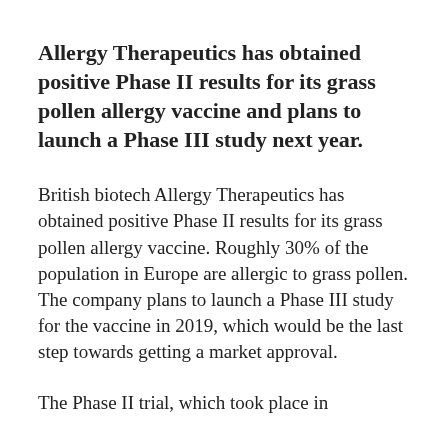Allergy Therapeutics has obtained positive Phase II results for its grass pollen allergy vaccine and plans to launch a Phase III study next year.
British biotech Allergy Therapeutics has obtained positive Phase II results for its grass pollen allergy vaccine. Roughly 30% of the population in Europe are allergic to grass pollen. The company plans to launch a Phase III study for the vaccine in 2019, which would be the last step towards getting a market approval.
The Phase II trial, which took place in...